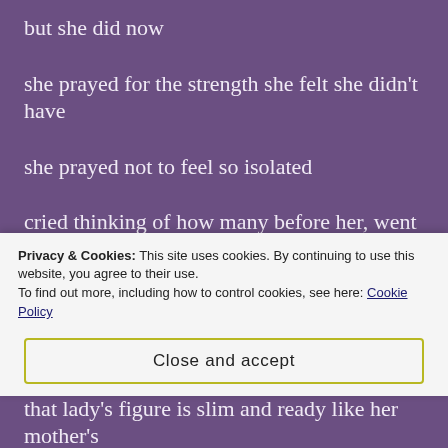but she did now
she prayed for the strength she felt she didn't have
she prayed not to feel so isolated
cried thinking of how many before her, went through this darkness alone, their hearts aching to be cared for
she was a little girl again, looking for her mother beneath furniture
Privacy & Cookies: This site uses cookies. By continuing to use this website, you agree to their use.
To find out more, including how to control cookies, see here: Cookie Policy
Close and accept
that lady's figure is slim and ready like her mother's